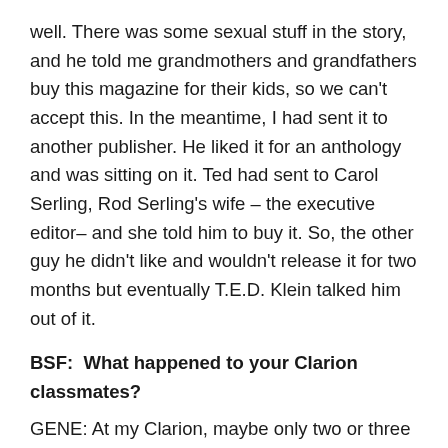well. There was some sexual stuff in the story, and he told me grandmothers and grandfathers buy this magazine for their kids, so we can't accept this. In the meantime, I had sent it to another publisher. He liked it for an anthology and was sitting on it. Ted had sent to Carol Serling, Rod Serling's wife – the executive editor– and she told him to buy it. So, the other guy he didn't like and wouldn't release it for two months but eventually T.E.D. Klein talked him out of it.
BSF:  What happened to your Clarion classmates?
GENE: At my Clarion, maybe only two or three of us went on because most people can't stand the rejection you get in writing. Scott Edleman, he's made a living as a writer since he was seventeen. He worked as an editor for several magazines, wrote in the comic book field